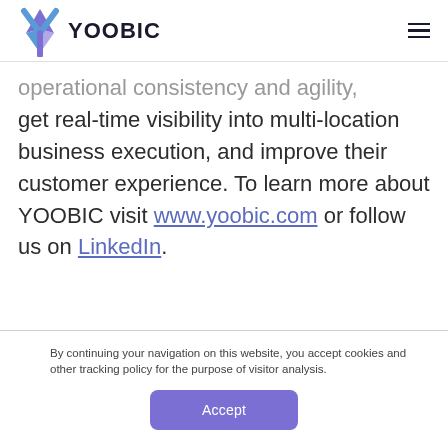YOOBIC
operational consistency and agility, get real-time visibility into multi-location business execution, and improve their customer experience. To learn more about YOOBIC visit www.yoobic.com or follow us on LinkedIn.
By continuing your navigation on this website, you accept cookies and other tracking policy for the purpose of visitor analysis.